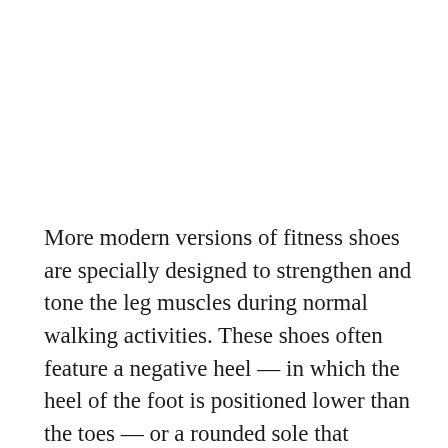More modern versions of fitness shoes are specially designed to strengthen and tone the leg muscles during normal walking activities. These shoes often feature a negative heel — in which the heel of the foot is positioned lower than the toes — or a rounded sole that creates a "rocker" motion when walking. These types of shoes tend to be quite expensive and claim to tone and firm leg muscles as well as the